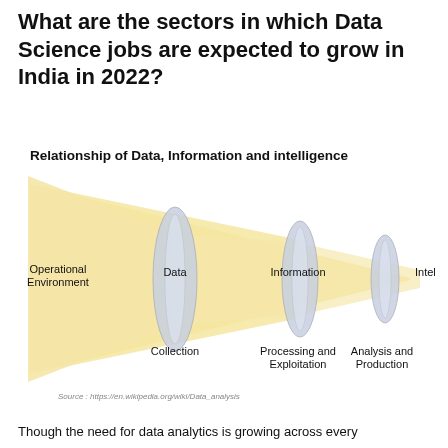What are the sectors in which Data Science jobs are expected to grow in India in 2022?
Relationship of Data, Information and intelligence
[Figure (infographic): A funnel/lens diagram showing the relationship between Operational Environment, Data (Collection), Information (Processing and Exploitation), and Intelligence (Analysis and Production). A yellow tapered funnel shape narrows from left to right, with three lens/oval shapes overlaid at Data, Information, and Intelligence positions.]
Source : https://en.wikipedia.org/wiki/Data_analysis
Though the need for data analytics is growing across every